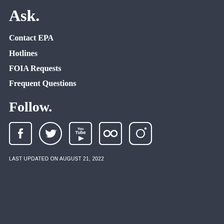Ask.
Contact EPA
Hotlines
FOIA Requests
Frequent Questions
Follow.
[Figure (illustration): Row of social media icons: Facebook, Twitter, YouTube, Flickr, Instagram]
LAST UPDATED ON AUGUST 21, 2022